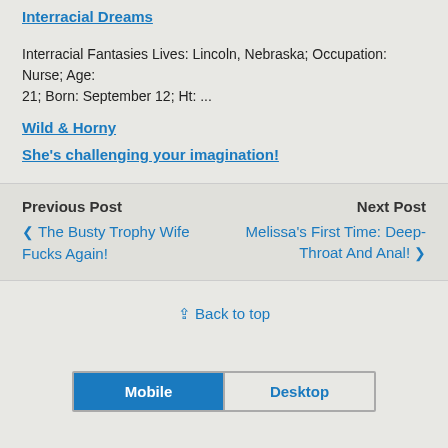Interracial Dreams
Interracial Fantasies Lives: Lincoln, Nebraska; Occupation: Nurse; Age: 21; Born: September 12; Ht: ...
Wild & Horny
She's challenging your imagination!
Previous Post
The Busty Trophy Wife Fucks Again!
Next Post
Melissa's First Time: Deep-Throat And Anal!
⇪ Back to top
Mobile  Desktop